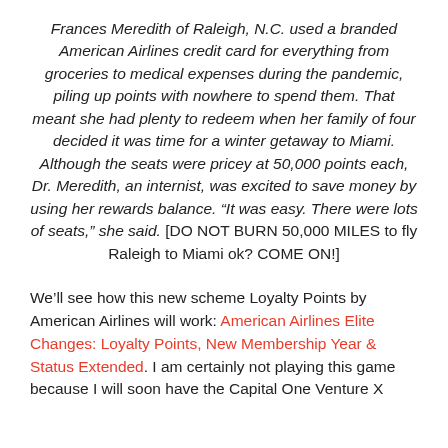Frances Meredith of Raleigh, N.C. used a branded American Airlines credit card for everything from groceries to medical expenses during the pandemic, piling up points with nowhere to spend them. That meant she had plenty to redeem when her family of four decided it was time for a winter getaway to Miami. Although the seats were pricey at 50,000 points each, Dr. Meredith, an internist, was excited to save money by using her rewards balance. “It was easy. There were lots of seats,” she said. [DO NOT BURN 50,000 MILES to fly Raleigh to Miami ok? COME ON!]
We’ll see how this new scheme Loyalty Points by American Airlines will work: American Airlines Elite Changes: Loyalty Points, New Membership Year & Status Extended. I am certainly not playing this game because I will soon have the Capital One Venture X